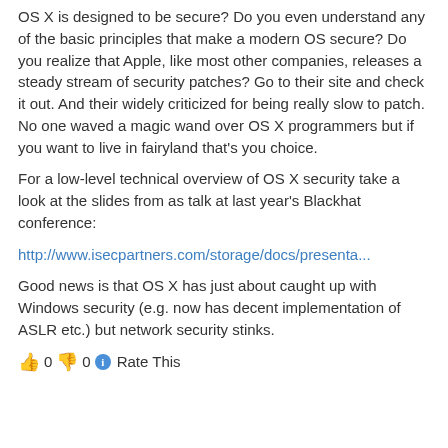OS X is designed to be secure? Do you even understand any of the basic principles that make a modern OS secure? Do you realize that Apple, like most other companies, releases a steady stream of security patches? Go to their site and check it out. And their widely criticized for being really slow to patch. No one waved a magic wand over OS X programmers but if you want to live in fairyland that's you choice.
For a low-level technical overview of OS X security take a look at the slides from as talk at last year's Blackhat conference:
http://www.isecpartners.com/storage/docs/presenta...
Good news is that OS X has just about caught up with Windows security (e.g. now has decent implementation of ASLR etc.) but network security stinks.
👍 0 👎 0 ℹ Rate This